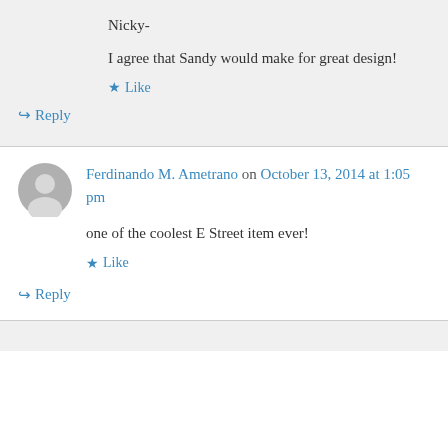Nicky-
I agree that Sandy would make for great design!
Like
Reply
Ferdinando M. Ametrano on October 13, 2014 at 1:05 pm
one of the coolest E Street item ever!
Like
Reply